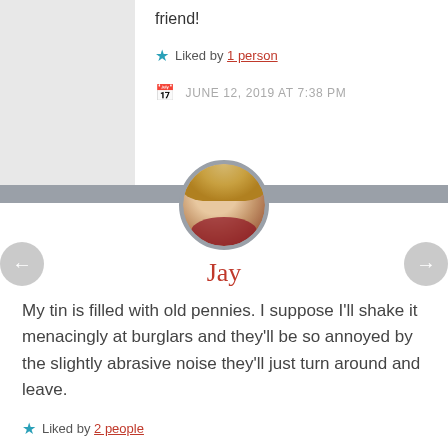friend!
Liked by 1 person
JUNE 12, 2019 AT 7:38 PM
[Figure (photo): Circular avatar photo of a woman with blonde hair and red lipstick, bordered by gray ring]
Jay
My tin is filled with old pennies. I suppose I'll shake it menacingly at burglars and they'll be so annoyed by the slightly abrasive noise they'll just turn around and leave.
Liked by 2 people